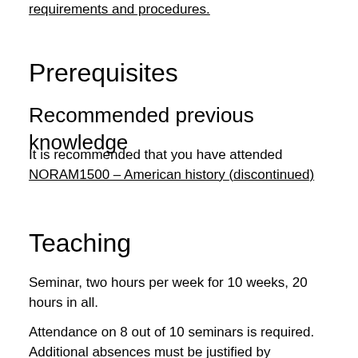requirements and procedures.
Prerequisites
Recommended previous knowledge
It is recommended that you have attended NORAM1500 – American history (discontinued)
Teaching
Seminar, two hours per week for 10 weeks, 20 hours in all.
Attendance on 8 out of 10 seminars is required. Additional absences must be justified by